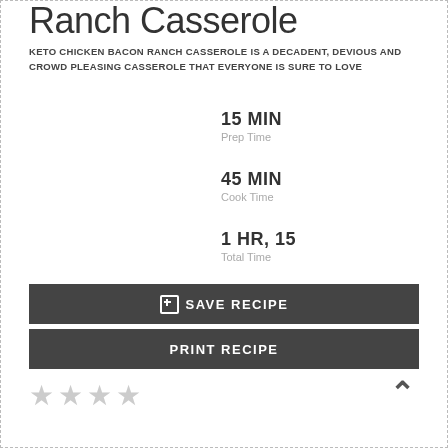Ranch Casserole
KETO CHICKEN BACON RANCH CASSEROLE IS A DECADENT, DEVIOUS AND CROWD PLEASING CASSEROLE THAT EVERYONE IS SURE TO LOVE
15 MIN
Prep Time
45 MIN
Cook Time
1 HR, 15
Total Time
⊞ SAVE RECIPE
PRINT RECIPE
★★★★